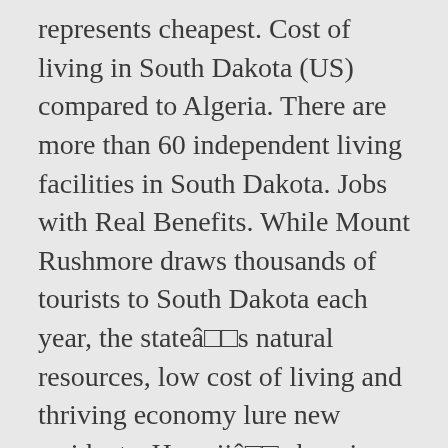represents cheapest. Cost of living in South Dakota (US) compared to Algeria. There are more than 60 independent living facilities in South Dakota. Jobs with Real Benefits. While Mount Rushmore draws thousands of tourists to South Dakota each year, the stateâ□□s natural resources, low cost of living and thriving economy lure new residents. Hawaiiâ□□s housing index is 318.6, where a two-bedroom costs about $1,895 per month and the median home value is about $660,000. It's true that South Dakotans have a lot to take pride in. Cost of Living in Madison, South Dakota, United States Access data about cities and countries worldwide. All rights reserved. Thatâ□□s right, the average senior living